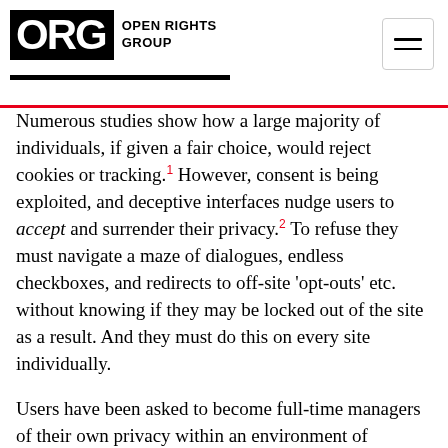ORG OPEN RIGHTS GROUP
Numerous studies show how a large majority of individuals, if given a fair choice, would reject cookies or tracking.1 However, consent is being exploited, and deceptive interfaces nudge users to accept and surrender their privacy.2 To refuse they must navigate a maze of dialogues, endless checkboxes, and redirects to off-site 'opt-outs' etc. without knowing if they may be locked out of the site as a result. And they must do this on every site individually.
Users have been asked to become full-time managers of their own privacy within an environment of manipulation and opacity, where consent cannot be 'informed' or 'freely given'. The result is that the rights granted to citizens by the law are not vindicated in practice.